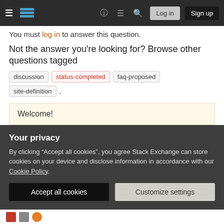Stack Exchange navigation bar with Log in and Sign up buttons
You must log in to answer this question.
Not the answer you’re looking for? Browse other questions tagged discussion status-completed faq-proposed site-definition .
Welcome!
This site is for discussion about The Workplace Stack Exchange. You must have an account there to participate.
Your privacy
By clicking “Accept all cookies”, you agree Stack Exchange can store cookies on your device and disclose information in accordance with our Cookie Policy.